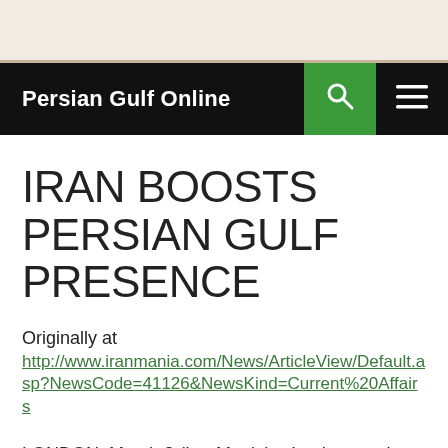Persian Gulf Online
IRAN BOOSTS PERSIAN GULF PRESENCE
Originally at
http://www.iranmania.com/News/ArticleView/Default.asp?NewsCode=41126&NewsKind=Current%20Affairs
LONDON, March 8 (IranMania) – Iran's armed forces have deployed a new locally-built submarine in Persian Gulf waters, Iran's state television reported.